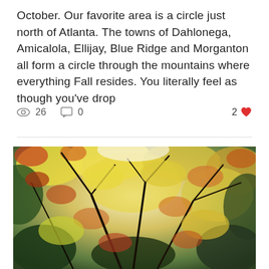October. Our favorite area is a circle just north of Atlanta. The towns of Dahlonega, Amicalola, Ellijay, Blue Ridge and Morganton all form a circle through the mountains where everything Fall resides. You literally feel as though you've drop
👁 26   💬 0   2 ❤
[Figure (photo): Close-up photograph looking up through autumn tree branches covered in yellow, orange, and red fall foliage against a bright sky, with dark branches visible throughout.]